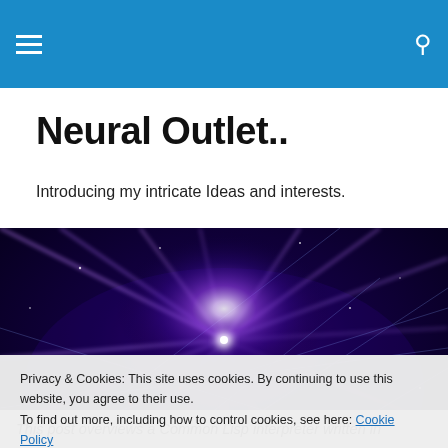Neural Outlet.. [navigation bar with hamburger menu and search icon]
Neural Outlet..
Introducing my intricate Ideas and interests.
[Figure (photo): Abstract cosmic/neural network image with purple and blue light rays emanating from a bright center point against a dark background]
Privacy & Cookies: This site uses cookies. By continuing to use this website, you agree to their use.
To find out more, including how to control cookies, see here: Cookie Policy
Close and accept
This post overviews a Common Lisp interpreter written in